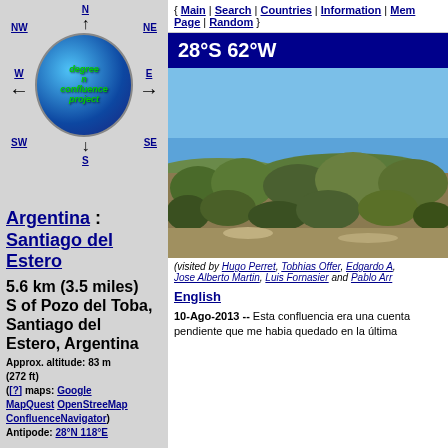[Figure (infographic): Degree Confluence Project compass navigation globe with cardinal directions NW, N, NE, W, E, SW, S, SE and a globe logo in the center]
Argentina : Santiago del Estero
5.6 km (3.5 miles) S of Pozo del Toba, Santiago del Estero, Argentina
Approx. altitude: 83 m (272 ft)
([?] maps: Google MapQuest OpenStreeMap ConfluenceNavigator) Antipode: 28°N 118°E
{ Main | Search | Countries | Information | Members Page | Random }
28°S 62°W
[Figure (photo): Landscape photo showing scrubby vegetation and bushes under a blue sky in Argentina]
(visited by Hugo Perret, Tobhias Offer, Edgardo A, Jose Alberto Martin, Luis Fornasier and Pablo Arr
English
10-Ago-2013 -- Esta confluencia era una cuenta pendiente que me habia quedado en la última